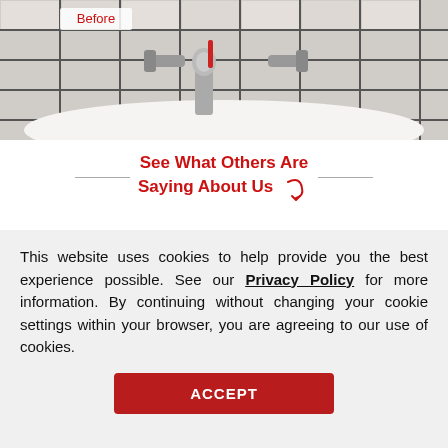[Figure (photo): Bathroom bathtub with chrome faucet fixtures and dark grout between white tiles. A 'Before' label appears in red in the upper left area of the image.]
See What Others Are Saying About Us
[Figure (illustration): Five gold/yellow star rating icons]
Sharon S - Pittsburgh, PA
June 20, 2022
I was looking for a service...
This website uses cookies to help provide you the best experience possible. See our Privacy Policy for more information. By continuing without changing your cookie settings within your browser, you are agreeing to our use of cookies.
ACCEPT